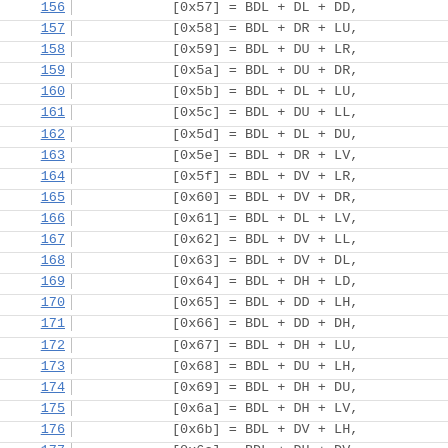156  [0x57] = BDL + DL + DD,
157  [0x58] = BDL + DR + LU,
158  [0x59] = BDL + DU + LR,
159  [0x5a] = BDL + DU + DR,
160  [0x5b] = BDL + DL + LU,
161  [0x5c] = BDL + DU + LL,
162  [0x5d] = BDL + DL + DU,
163  [0x5e] = BDL + DR + LV,
164  [0x5f] = BDL + DV + LR,
165  [0x60] = BDL + DV + DR,
166  [0x61] = BDL + DL + LV,
167  [0x62] = BDL + DV + LL,
168  [0x63] = BDL + DV + DL,
169  [0x64] = BDL + DH + LD,
170  [0x65] = BDL + DD + LH,
171  [0x66] = BDL + DD + DH,
172  [0x67] = BDL + DH + LU,
173  [0x68] = BDL + DU + LH,
174  [0x69] = BDL + DH + DU,
175  [0x6a] = BDL + DH + LV,
176  [0x6b] = BDL + DV + LH,
177  [0x6c] = BDL + DH + DV,